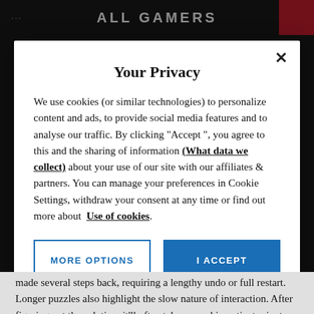ALL GAMERS
Your Privacy
We use cookies (or similar technologies) to personalize content and ads, to provide social media features and to analyse our traffic. By clicking "Accept ", you agree to this and the sharing of information (What data we collect) about your use of our site with our affiliates & partners. You can manage your preferences in Cookie Settings, withdraw your consent at any time or find out more about Use of cookies.
MORE OPTIONS
I ACCEPT
made several steps back, requiring a lengthy undo or full restart. Longer puzzles also highlight the slow nature of interaction. After figuring out the solution, it'll often take several impatient minutes of reorganizing to get pieces in the correct structure.